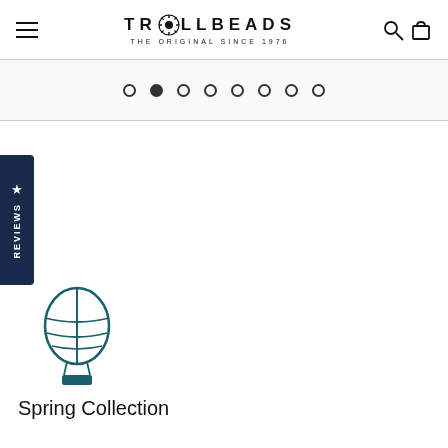TROLLBEADS — THE ORIGINAL SINCE 1976
[Figure (other): Pagination dots row: 8 circles, second one filled/active]
[Figure (other): Dark navy blue Reviews side tab with star icon and vertical REVIEWS text]
[Figure (illustration): Hot air balloon icon in dark teal/navy color]
Spring Collection